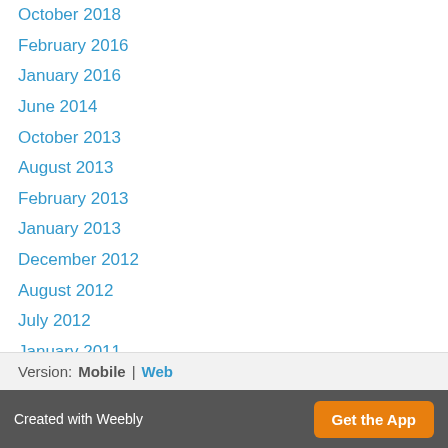October 2018
February 2016
January 2016
June 2014
October 2013
August 2013
February 2013
January 2013
December 2012
August 2012
July 2012
January 2011
Categories
All
RSS Feed
Version: Mobile | Web
Created with Weebly